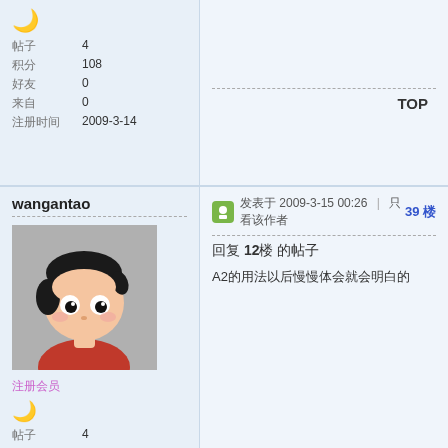帖子 4 积分 108 好友 0 来自 0 注册时间 2009-3-14
TOP
wangantao
[Figure (photo): Cartoon anime-style avatar of a child with black hair and red shirt on grey background]
注册会员
帖子 4 积分 108 好友 0 来自 0
发表于 2009-3-15 00:26 | 只看该作者 39 楼
回复 12楼 的帖子
A2的用法以后慢慢体会就会明白的